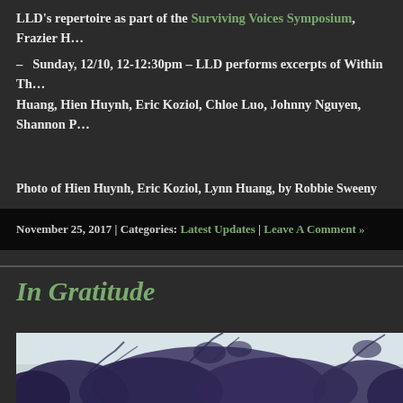LLD's repertoire as part of the Surviving Voices Symposium, Frazier H…
– Sunday, 12/10, 12-12:30pm – LLD performs excerpts of Within Th… Huang, Hien Huynh, Eric Koziol, Chloe Luo, Johnny Nguyen, Shannon P…
Photo of Hien Huynh, Eric Koziol, Lynn Huang, by Robbie Sweeny
November 25, 2017 | Categories: Latest Updates | Leave A Comment »
In Gratitude
[Figure (photo): A blue-tinted black and white photo of trees against a light sky, viewed from below]